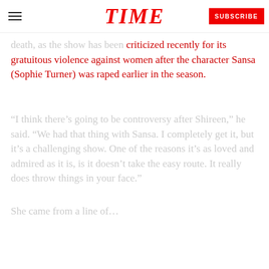TIME
death, as the show has been criticized recently for its gratuitous violence against women after the character Sansa (Sophie Turner) was raped earlier in the season.
“I think there’s going to be controversy after Shireen,” he said. “We had that thing with Sansa. I completely get it, but it’s a challenging show. One of the reasons it’s as loved and admired as it is, is it doesn’t take the easy route. It really does throw things in your face.”
She came from a line of...